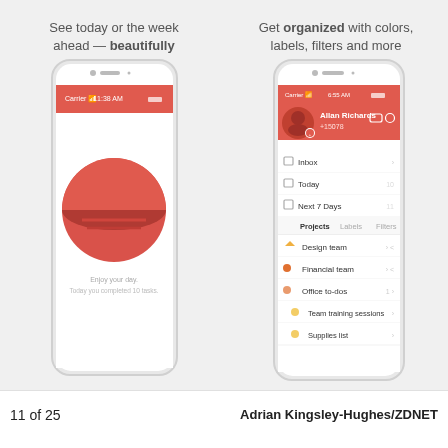[Figure (screenshot): Two smartphone screenshots side by side on a light gray background. Left phone shows a Todoist 'Today' view with a red header and a circular red/dark red icon with the text 'Enjoy your day. Today you completed 10 tasks.' Above the left phone: 'See today or the week ahead — beautifully'. Right phone shows a Todoist menu with Allan Richards profile, inbox, Today, Next 7 Days, and project list (Design team, Financial team, Office to-dos, Team training sessions, Supplies list). Above the right phone: 'Get organized with colors, labels, filters and more'.]
11 of 25    Adrian Kingsley-Hughes/ZDNET